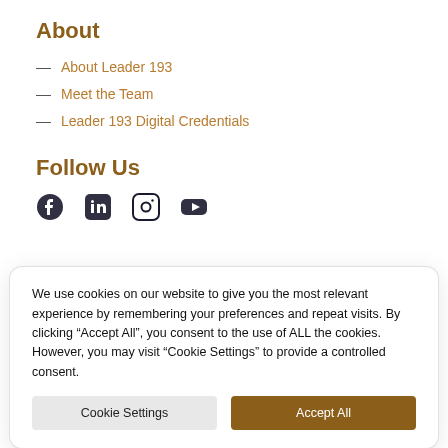About
About Leader 193
Meet the Team
Leader 193 Digital Credentials
Follow Us
[Figure (other): Social media icons: Facebook, LinkedIn, Instagram, YouTube]
We use cookies on our website to give you the most relevant experience by remembering your preferences and repeat visits. By clicking “Accept All”, you consent to the use of ALL the cookies. However, you may visit “Cookie Settings” to provide a controlled consent.
Cookie Settings | Accept All